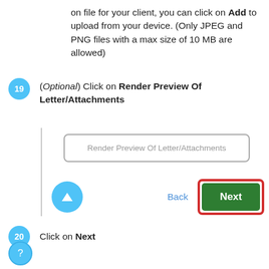on file for your client, you can click on Add to upload from your device. (Only JPEG and PNG files with a max size of 10 MB are allowed)
19 (Optional) Click on Render Preview Of Letter/Attachments
[Figure (screenshot): Screenshot panel showing a 'Render Preview Of Letter/Attachments' button, a blue up-arrow circle button, a 'Back' link, and a 'Next' green button highlighted with a red border.]
20 Click on Next